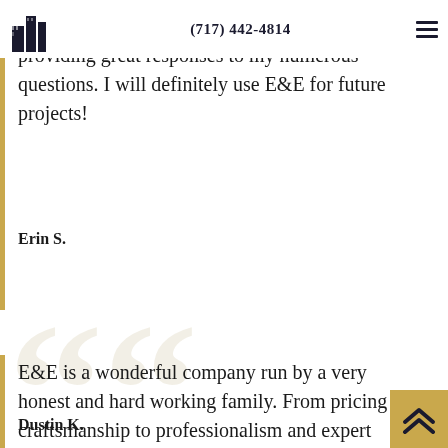[Figure (logo): E&E company building logo icon in dark navy]
(717) 442-4814
questions and E&E was patient with me while providing great responses to my numerous questions. I will definitely use E&E for future projects!
Erin S.
E&E is a wonderful company run by a very honest and hard working family. From pricing and craftsmanship to professionalism and expert advice, you can rest at night knowing your investment in your home will be done by an outstanding team.
Dustin K.